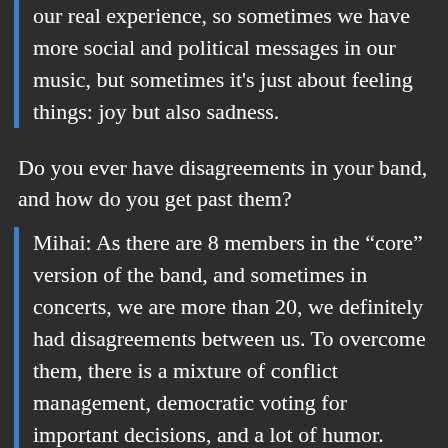our real experience, so sometimes we have more social and political messages in our music, but sometimes it's just about feeling things: joy but also sadness.
Do you ever have disagreements in your band, and how do you get past them?
Mihai: As there are 8 members in the “core” version of the band, and sometimes in concerts, we are more than 20, we definitely had disagreements between us. To overcome them, there is a mixture of conflict management, democratic voting for important decisions, and a lot of humor.
Dan: The democratic vote is a very important aspect of our band's conflict-solving strategy.